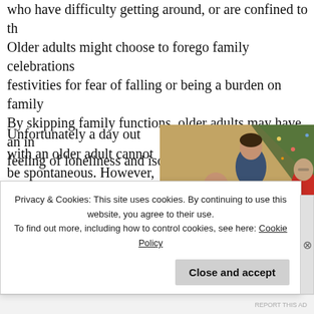who have difficulty getting around, or are confined to their homes. Older adults might choose to forego family celebrations and festivities for fear of falling or being a burden on family. By skipping family functions, older adults may have an increased feeling of loneliness and isolation during the holidays.
Unfortunately a day out with an older adult cannot be spontaneous. However, with a little pre-planning and modifications, holiday
[Figure (photo): A multigenerational family gathered around a Christmas tree, smiling and interacting. The photo shows adults and children in a warm holiday setting.]
Privacy & Cookies: This site uses cookies. By continuing to use this website, you agree to their use. To find out more, including how to control cookies, see here: Cookie Policy
Close and accept